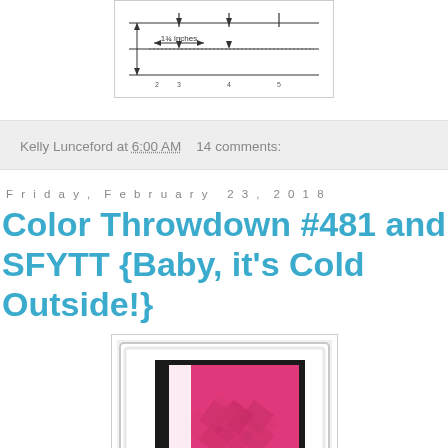[Figure (schematic): Hand-drawn measurement/scoring diagram showing horizontal lines with arrows indicating measurement of 1¾ inches and numbered columns]
Kelly Lunceford at 6:00 AM   14 comments:
Friday, February 23, 2018
Color Throwdown #481 and SFYTT {Baby, it's Cold Outside!}
[Figure (photo): Handmade greeting card displayed in a white decorative frame, featuring a pink background with embossed geometric pinwheel pattern and a circular stamp/embellishment]